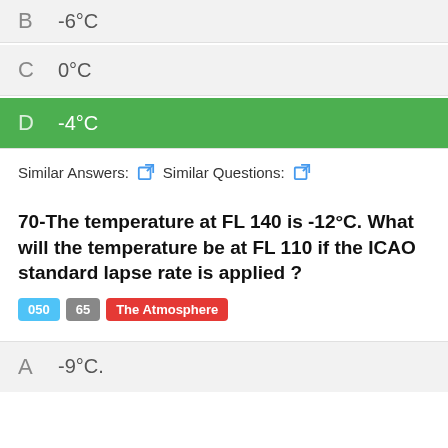B  -6°C
C  0°C
D  -4°C (correct answer, highlighted green)
Similar Answers: [icon] Similar Questions: [icon]
70-The temperature at FL 140 is -12°C. What will the temperature be at FL 110 if the ICAO standard lapse rate is applied ?
Tags: 050  65  The Atmosphere
A  -9°C.